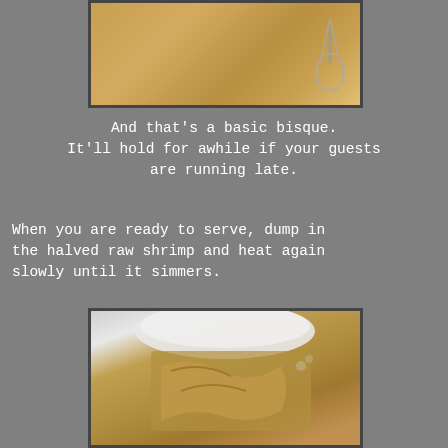[Figure (photo): Close-up of a whisk stirring a thick golden-colored bisque sauce in a pot]
And that’s a basic bisque.
It’ll hold for awhile if your guests
are running late.
When you are ready to serve, dump in
the halved raw shrimp and heat again
slowly until it simmers.
[Figure (photo): Close-up of raw halved shrimp being added to a golden bisque soup, with a white bowl visible at the top]